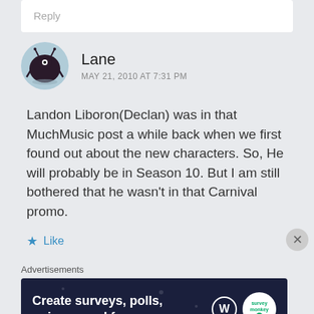Reply
Lane
MAY 21, 2010 AT 7:31 PM
Landon Liboron(Declan) was in that MuchMusic post a while back when we first found out about the new characters. So, He will probably be in Season 10. But I am still bothered that he wasn't in that Carnival promo.
Like
Advertisements
[Figure (screenshot): Advertisement banner: dark navy background with white bold text 'Create surveys, polls, quizzes, and forms.' with WordPress and SurveyMonkey logos on the right.]